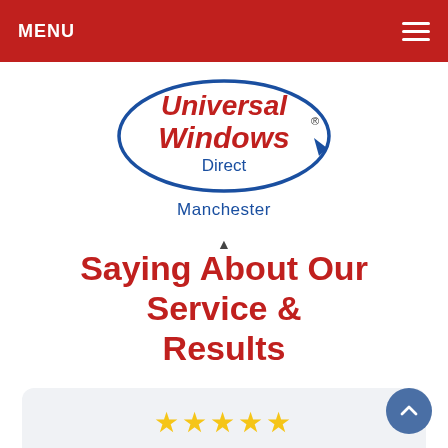MENU
[Figure (logo): Universal Windows Direct logo with blue oval arrow and red bold text, subtitle 'Direct' in blue]
Manchester
Saying About Our Service & Results
"I couldn't be happier with my new windows. The only regret I have is not having these guys replace all of